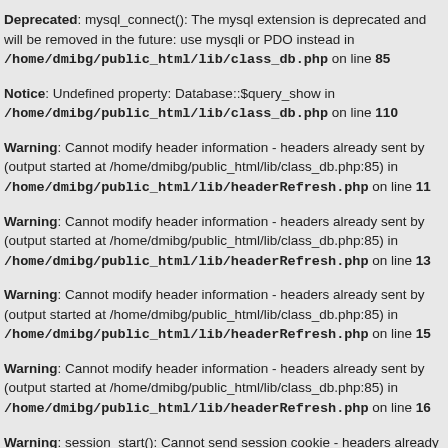Deprecated: mysql_connect(): The mysql extension is deprecated and will be removed in the future: use mysqli or PDO instead in /home/dmibg/public_html/lib/class_db.php on line 85
Notice: Undefined property: Database::$query_show in /home/dmibg/public_html/lib/class_db.php on line 110
Warning: Cannot modify header information - headers already sent by (output started at /home/dmibg/public_html/lib/class_db.php:85) in /home/dmibg/public_html/lib/headerRefresh.php on line 11
Warning: Cannot modify header information - headers already sent by (output started at /home/dmibg/public_html/lib/class_db.php:85) in /home/dmibg/public_html/lib/headerRefresh.php on line 13
Warning: Cannot modify header information - headers already sent by (output started at /home/dmibg/public_html/lib/class_db.php:85) in /home/dmibg/public_html/lib/headerRefresh.php on line 15
Warning: Cannot modify header information - headers already sent by (output started at /home/dmibg/public_html/lib/class_db.php:85) in /home/dmibg/public_html/lib/headerRefresh.php on line 16
Warning: session_start(): Cannot send session cookie - headers already sent